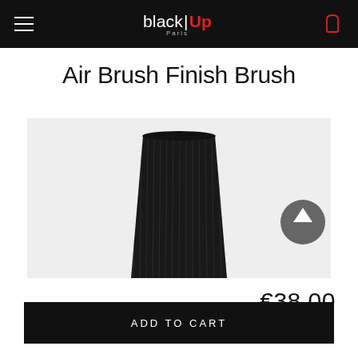black|Up Paris — navigation header with hamburger menu and cart icon
Air Brush Finish Brush
[Figure (photo): Close-up photo of a flat foundation makeup brush with dense dark bristles on a light gray background, with a circular arrow navigation button at the right side]
€38.00
ADD TO CART